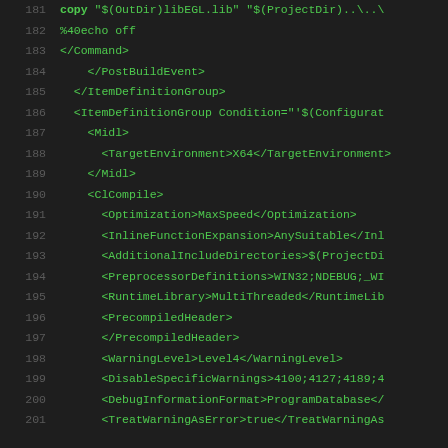[Figure (screenshot): Code editor screenshot showing XML/MSBuild project file lines 181-201 with green monospace text on dark background]
181   copy "$(OutDir)libEGL.lib" "$(ProjectDir)..\..\
182   %40echo off
183   </Command>
184       </PostBuildEvent>
185     </ItemDefinitionGroup>
186     <ItemDefinitionGroup Condition="'$(Configurat
187       <Midl>
188         <TargetEnvironment>X64</TargetEnvironment>
189       </Midl>
190       <ClCompile>
191         <Optimization>MaxSpeed</Optimization>
192         <InlineFunctionExpansion>AnySuitable</Inl
193         <AdditionalIncludeDirectories>$(ProjectDi
194         <PreprocessorDefinitions>WIN32;NDEBUG;_WI
195         <RuntimeLibrary>MultiThreaded</RuntimeLib
196         <PrecompiledHeader>
197         </PrecompiledHeader>
198         <WarningLevel>Level4</WarningLevel>
199         <DisableSpecificWarnings>4100;4127;4189;4
200         <DebugInformationFormat>ProgramDatabase</
201         <TreatWarningAsError>true</TreatWarningAs